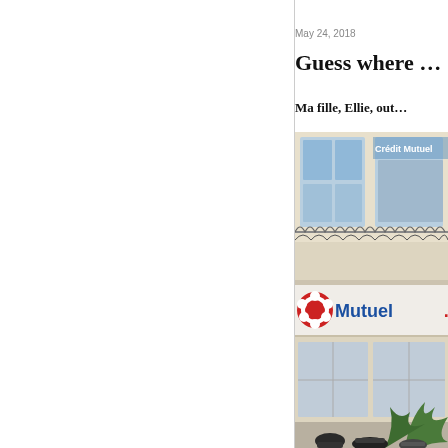May 24, 2018
Guess where …
Ma fille, Ellie, out…
[Figure (photo): Street-level photo of a Crédit Mutuel bank branch building showing ornate balconies on the upper floor and the blue and red Crédit Mutuel logo sign across the lower facade, with palm trees and people at street level.]